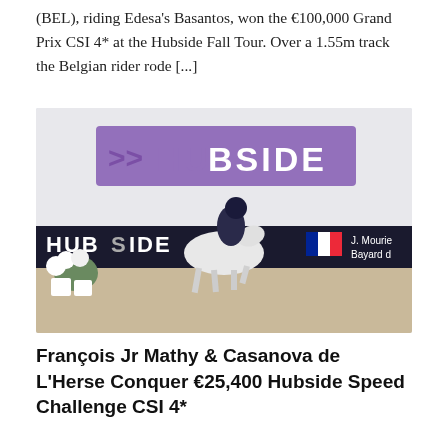(BEL), riding Edesa's Basantos, won the €100,000 Grand Prix CSI 4* at the Hubside Fall Tour. Over a 1.55m track the Belgian rider rode [...]
[Figure (photo): Equestrian show jumping photo: a rider in dark jacket and helmet on a white horse galloping at the Hubside venue. Background shows a large purple and white HUBSIDE banner and a scoreboard showing 'J. Mourie' and 'Bayard de' with a French flag. White floral decorations are visible on the left.]
François Jr Mathy & Casanova de L'Herse Conquer €25,400 Hubside Speed Challenge CSI 4*